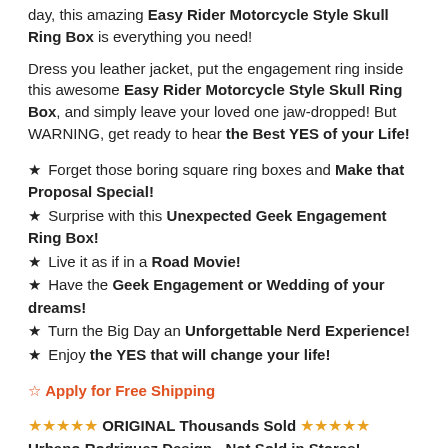day, this amazing Easy Rider Motorcycle Style Skull Ring Box is everything you need!
Dress you leather jacket, put the engagement ring inside this awesome Easy Rider Motorcycle Style Skull Ring Box, and simply leave your loved one jaw-dropped! But WARNING, get ready to hear the Best YES of your Life!
★ Forget those boring square ring boxes and Make that Proposal Special!
★ Surprise with this Unexpected Geek Engagement Ring Box!
★ Live it as if in a Road Movie!
★ Have the Geek Engagement or Wedding of your dreams!
★ Turn the Big Day an Unforgettable Nerd Experience!
★ Enjoy the YES that will change your life!
☆ Apply for Free Shipping
★★★★★ ORIGINAL Thousands Sold ★★★★★ Urbano Rodriguez Design - Not Sold in Stores!